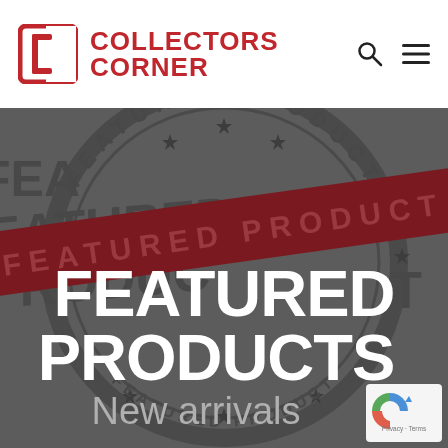[Figure (logo): Collectors Corner logo with stylized C icon in red square border and red bold text reading COLLECTORS CORNER]
[Figure (screenshot): Hero banner with dark grey background showing a circular stamp graphic with text FEATURED PRODUCT repeated, overlaid with a dark red diagonal banner also reading FEATURED PRODUCT, white bold text FEATURED PRODUCTS centered, grey italic text New arrivals below, and a reCAPTCHA badge in the bottom right corner]